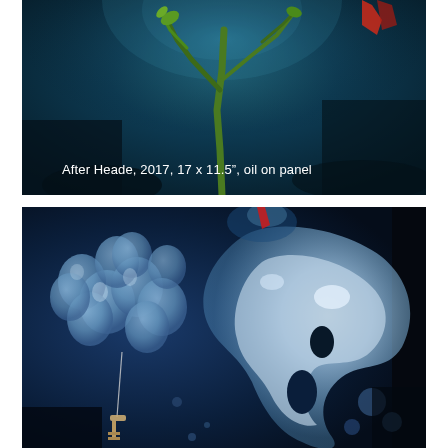[Figure (illustration): Painting of an underwater or atmospheric dark teal/blue scene with a green branching plant or coral in the upper center and a red element partially visible at top right, dark dramatic background]
After Heade, 2017, 17 x 11.5", oil on panel
[Figure (illustration): Painting of a dark blue atmospheric scene featuring a cluster of pale blue round balloons or bubbles on the left with a thin wire/string holding a key or tool at the bottom left, and a large fluid pale blue/white paint splash or liquid form dominating the right side against a very dark blue background, with a small red element near top center]